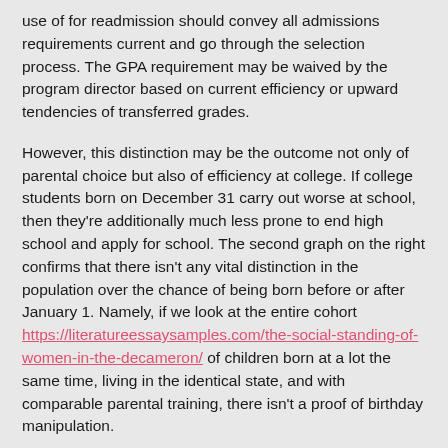use of for readmission should convey all admissions requirements current and go through the selection process. The GPA requirement may be waived by the program director based on current efficiency or upward tendencies of transferred grades.
However, this distinction may be the outcome not only of parental choice but also of efficiency at college. If college students born on December 31 carry out worse at school, then they're additionally much less prone to end high school and apply for school. The second graph on the right confirms that there isn't any vital distinction in the population over the chance of being born before or after January 1. Namely, if we look at the entire cohort https://literatureessaysamples.com/the-social-standing-of-women-in-the-decameron/ of children born at a lot the same time, living in the identical state, and with comparable parental training, there isn't a proof of birthday manipulation.
Offered by some schools, an on-the-job coaching program